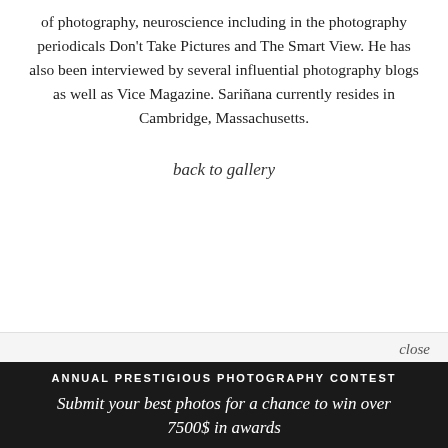of photography, neuroscience including in the photography periodicals Don't Take Pictures and The Smart View. He has also been interviewed by several influential photography blogs as well as Vice Magazine. Sariñana currently resides in Cambridge, Massachusetts.
back to gallery
close
ANNUAL PRESTIGIOUS PHOTOGRAPHY CONTEST
Submit your best photos for a chance to win over 7500$ in awards